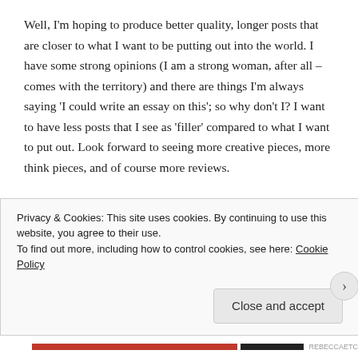Well, I'm hoping to produce better quality, longer posts that are closer to what I want to be putting out into the world. I have some strong opinions (I am a strong woman, after all – comes with the territory) and there are things I'm always saying 'I could write an essay on this'; so why don't I? I want to have less posts that I see as 'filler' compared to what I want to put out. Look forward to seeing more creative pieces, more think pieces, and of course more reviews.
Okay, what else?
I want to be around more. I feel like I've been a terrible
Privacy & Cookies: This site uses cookies. By continuing to use this website, you agree to their use.
To find out more, including how to control cookies, see here: Cookie Policy